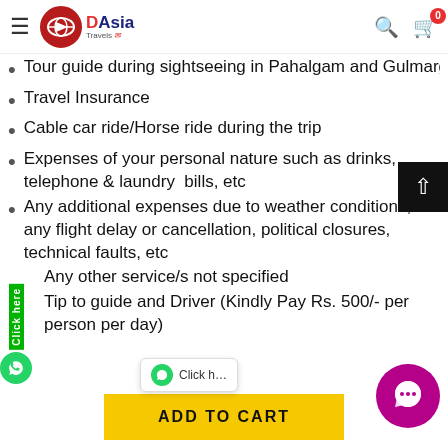DAsia Travels — Search — Cart (0)
Tour guide during sightseeing in Pahalgam and Gulmarg
Travel Insurance
Cable car ride/Horse ride during the trip
Expenses of your personal nature such as drinks, telephone & laundry  bills, etc
Any additional expenses due to weather conditions, any flight delay or cancellation, political closures, technical faults, etc
Any other service/s not specified
Tip to guide and Driver (Kindly Pay Rs. 500/- per person per day)
ADD TO CART